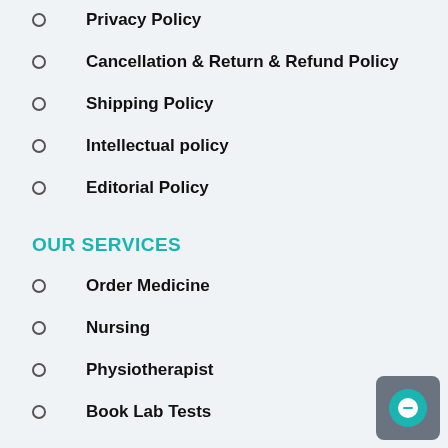Privacy Policy
Cancellation & Return & Refund Policy
Shipping Policy
Intellectual policy
Editorial Policy
OUR SERVICES
Order Medicine
Nursing
Physiotherapist
Book Lab Tests